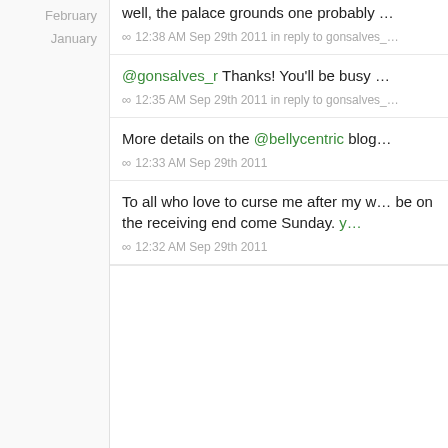February
January
well, the palace grounds one probably …
∞  12:38 AM Sep 29th 2011 in reply to gonsalves_…
@gonsalves_r Thanks! You'll be busy …
∞  12:35 AM Sep 29th 2011 in reply to gonsalves_…
More details on the @bellycentric blog…
∞  12:33 AM Sep 29th 2011
To all who love to curse me after my w… be on the receiving end come Sunday. y…
∞  12:32 AM Sep 29th 2011